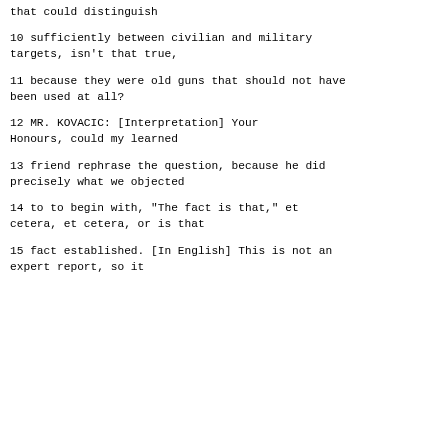that could distinguish
10      sufficiently between civilian and military targets, isn't that true,
11      because they were old guns that should not have been used at all?
12             MR. KOVACIC: [Interpretation] Your Honours, could my learned
13      friend rephrase the question, because he did precisely what we objected
14      to to begin with, "The fact is that," et cetera, et cetera, or is that
15      fact established.  [In English] This is not an expert report, so it